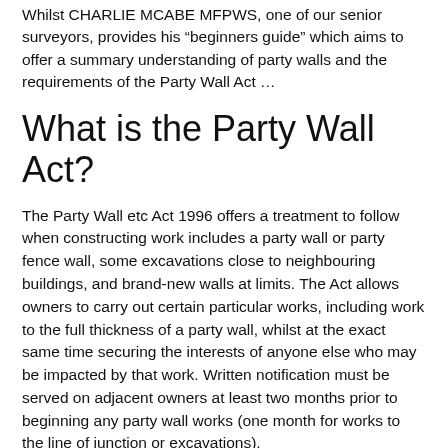Whilst CHARLIE MCABE MFPWS, one of our senior surveyors, provides his “beginners guide” which aims to offer a summary understanding of party walls and the requirements of the Party Wall Act …
What is the Party Wall Act?
The Party Wall etc Act 1996 offers a treatment to follow when constructing work includes a party wall or party fence wall, some excavations close to neighbouring buildings, and brand-new walls at limits. The Act allows owners to carry out certain particular works, including work to the full thickness of a party wall, whilst at the exact same time securing the interests of anyone else who may be impacted by that work. Written notification must be served on adjacent owners at least two months prior to beginning any party wall works (one month for works to the line of junction or excavations).
Related Articles